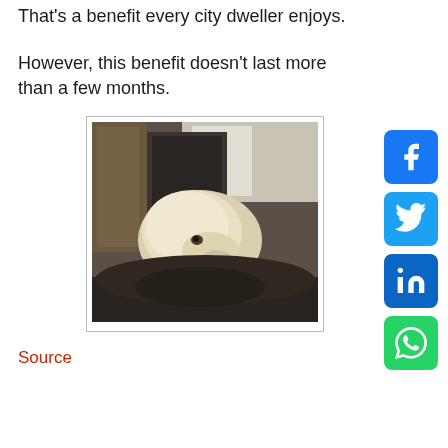That's a benefit every city dweller enjoys.
However, this benefit doesn't last more than a few months.
[Figure (photo): A white/light-colored puppy resting its head on dark fabric/blanket, with wicker furniture and a window visible in the background.]
Source